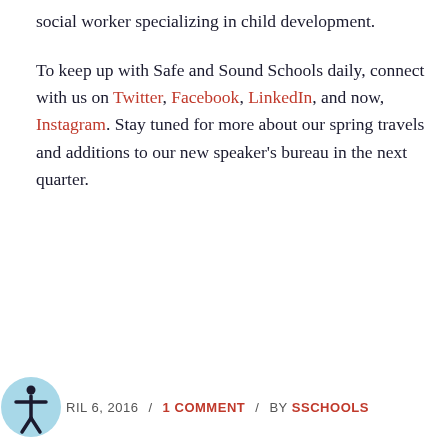social worker specializing in child development.
To keep up with Safe and Sound Schools daily, connect with us on Twitter, Facebook, LinkedIn, and now, Instagram. Stay tuned for more about our spring travels and additions to our new speaker's bureau in the next quarter.
APRIL 6, 2016 / 1 COMMENT / BY SSCHOOLS